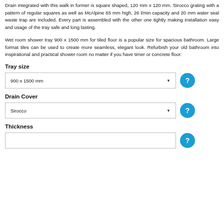Drain integrated with this walk in former is square shaped, 120 mm x 120 mm. Sirocco grating with a pattern of regular squares as well as McAlpine 65 mm high, 26 l/min capacity and 20 mm water seal waste trap are included. Every part is assembled with the other one tightly making installation easy and usage of the tray safe and long lasting.
Wet room shower tray 900 x 1500 mm for tiled floor is a popular size for spacious bathroom. Large format tiles can be used to create more seamless, elegant look. Refurbish your old bathroom into inspirational and practical shower room no matter if you have timer or concrete floor.
Tray size
900 x 1500 mm
Drain Cover
Sirocco
Thickness